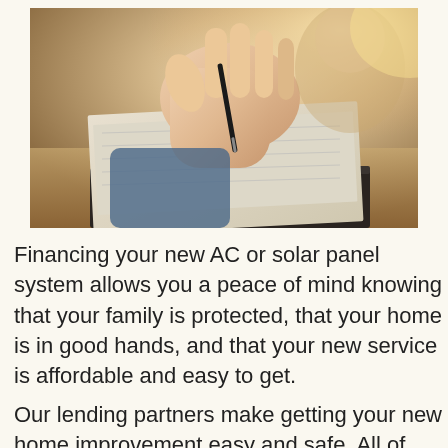[Figure (photo): Close-up photo of a person's hand holding a pen signing or writing on a document/notebook on a wooden desk, with another person blurred in the background.]
Financing your new AC or solar panel system allows you a peace of mind knowing that your family is protected, that your home is in good hands, and that your new service is affordable and easy to get.
Our lending partners make getting your new home improvement easy and safe. All of